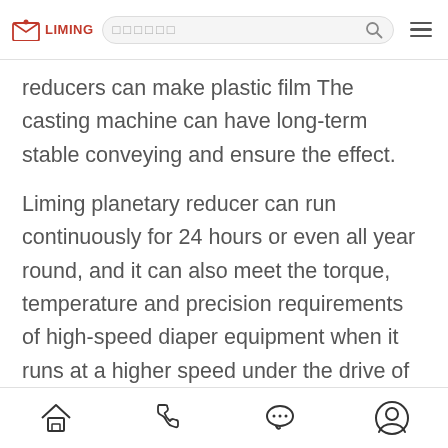LIMING [search bar] [menu]
reducers can make plastic film The casting machine can have long-term stable conveying and ensure the effect.
Liming planetary reducer can run continuously for 24 hours or even all year round, and it can also meet the torque, temperature and precision requirements of high-speed diaper equipment when it runs at a higher speed under the drive of the servo motor.
[home] [phone] [chat] [user]